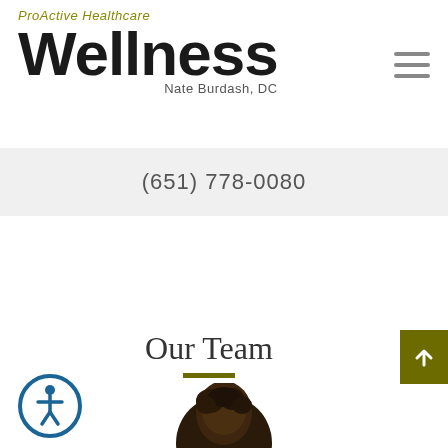[Figure (logo): ProActive Healthcare Wellness logo with 'Nate Burdash, DC' tagline and hamburger menu icon]
(651) 778-0080
Our Team
[Figure (illustration): Accessibility icon - person in circle outline with teal border]
[Figure (photo): Partial photo of a person's head with dark curly hair, cropped at bottom of page]